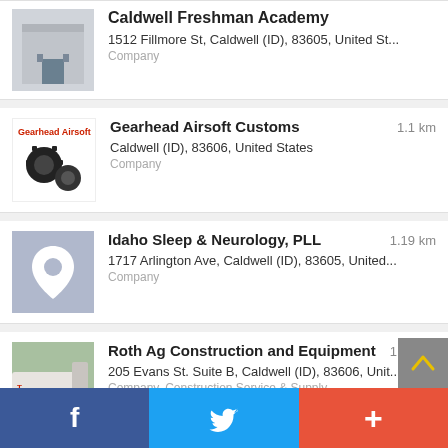Caldwell Freshman Academy — 1512 Fillmore St, Caldwell (ID), 83605, United St... — Company
Gearhead Airsoft Customs — 1.1 km — Caldwell (ID), 83606, United States — Company
Idaho Sleep & Neurology, PLL — 1.19 km — 1717 Arlington Ave, Caldwell (ID), 83605, United... — Company
Roth Ag Construction and Equipment — 1.27 km — 205 Evans St. Suite B, Caldwell (ID), 83606, Unit... — Company, Construction Service & Supply
Northwest Cabinet Doors — 1.31 km